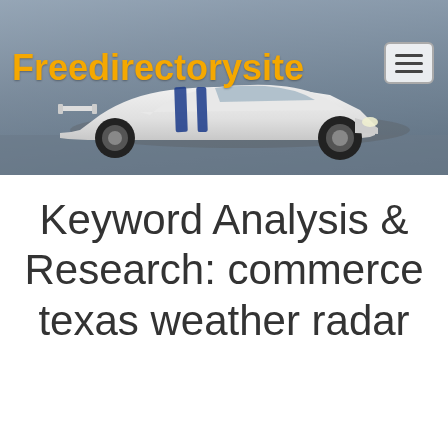[Figure (screenshot): Website header banner with a white sports car with blue racing stripes on a gray/blue background. The site logo 'Freedirectorysite' appears in bold orange text on the left, and a hamburger menu button appears on the right.]
Keyword Analysis & Research: commerce texas weather radar